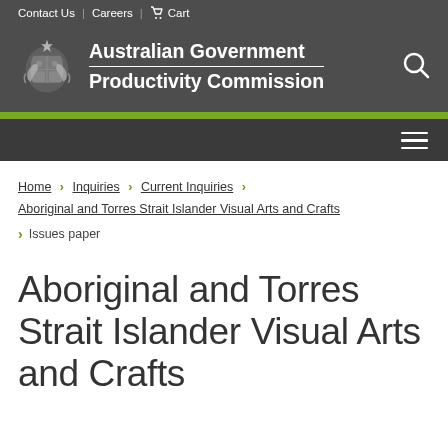Contact Us | Careers | Cart
[Figure (logo): Australian Government coat of arms logo with kangaroo and emu, next to text 'Australian Government Productivity Commission']
Home > Inquiries > Current Inquiries > Aboriginal and Torres Strait Islander Visual Arts and Crafts > Issues paper
Aboriginal and Torres Strait Islander Visual Arts and Crafts